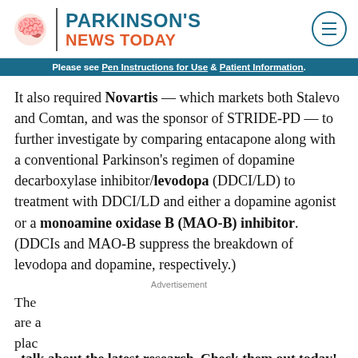Parkinson's News Today
Please see Pen Instructions for Use & Patient Information.
It also required Novartis — which markets both Stalevo and Comtan, and was the sponsor of STRIDE-PD — to further investigate by comparing entacapone along with a conventional Parkinson's regimen of dopamine decarboxylase inhibitor/levodopa (DDCI/LD) to treatment with DDCI/LD and either a dopamine agonist or a monoamine oxidase B (MAO-B) inhibitor. (DDCIs and MAO-B suppress the breakdown of levodopa and dopamine, respectively.)
Advertisement
They are a place to discuss the latest research topics and talk about the latest research. Check them out today!
[Figure (other): Advertisement overlay reading: Talk to your doctor about choosing APOKYN]